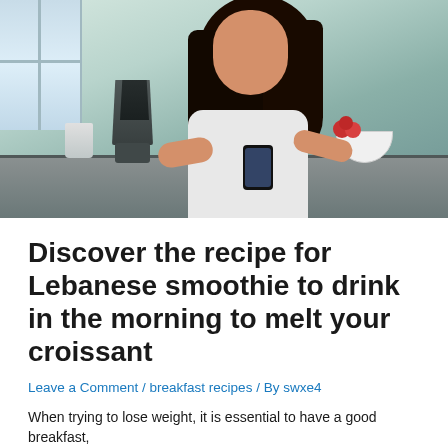[Figure (photo): A smiling Asian woman in a white sleeveless top leaning over a kitchen counter looking at her phone, with a blender, cups, and strawberries on the counter.]
Discover the recipe for Lebanese smoothie to drink in the morning to melt your croissant
Leave a Comment / breakfast recipes / By swxe4
When trying to lose weight, it is essential to have a good breakfast,